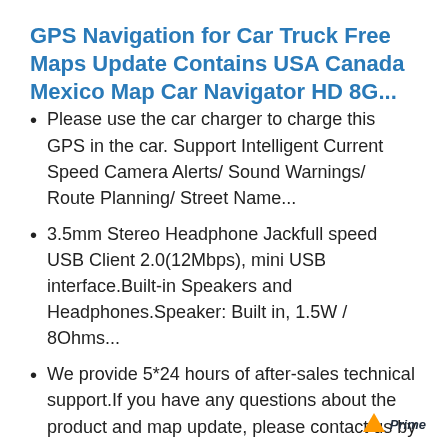GPS Navigation for Car Truck Free Maps Update Contains USA Canada Mexico Map Car Navigator HD 8G...
Please use the car charger to charge this GPS in the car. Support Intelligent Current Speed Camera Alerts/ Sound Warnings/ Route Planning/ Street Name...
3.5mm Stereo Headphone Jackfull speed USB Client 2.0(12Mbps), mini USB interface.Built-in Speakers and Headphones.Speaker: Built in, 1.5W / 8Ohms...
We provide 5*24 hours of after-sales technical support.If you have any questions about the product and map update, please contact us by message, we...
[Figure (logo): Prime logo with orange arrow icon and 'Prime' text in italic]